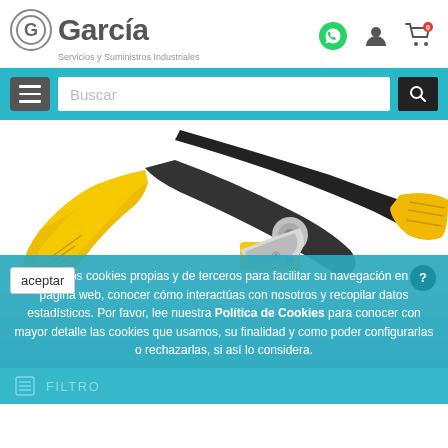[Figure (logo): García Servicios y Suministros Industriales logo with G icon]
[Figure (screenshot): Search bar with hamburger menu button, Buscar input, and search icon on teal background]
[Figure (photo): Yellow and black Stanley FatMax aviation snips / metal cutting shears on white background]
Utilizamos cookies propias y de terceros para facilitar su navegación en la página web, conocer cómo interactúas con nosotros y recopilar datos estadísticos. Por favor, lee nuestra Política de Cookies para conocer con mayor detalle las cookies que usamos, su finalidad y como poder configurarlas o rechazarlas, si así lo considera.
FILTRO